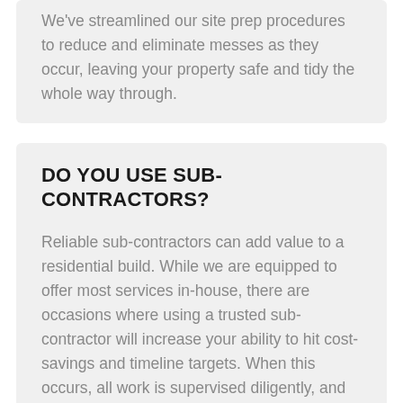We've streamlined our site prep procedures to reduce and eliminate messes as they occur, leaving your property safe and tidy the whole way through.
DO YOU USE SUB-CONTRACTORS?
Reliable sub-contractors can add value to a residential build. While we are equipped to offer most services in-house, there are occasions where using a trusted sub-contractor will increase your ability to hit cost-savings and timeline targets. When this occurs, all work is supervised diligently, and the highest quality craftmanship and customer